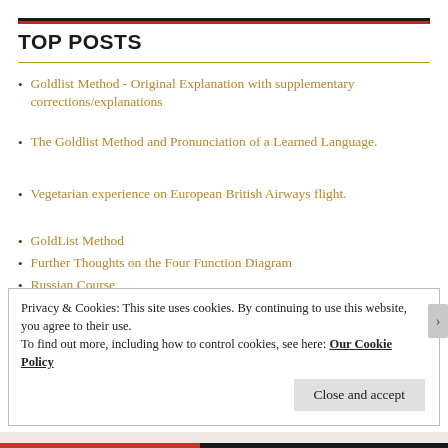TOP POSTS
Goldlist Method - Original Explanation with supplementary corrections/explanations
The Goldlist Method and Pronunciation of a Learned Language.
Vegetarian experience on European British Airways flight.
GoldList Method
Further Thoughts on the Four Function Diagram
Russian Course
On the Waterfront at Cape Town (South Africa Series 2/10)
Privacy & Cookies: This site uses cookies. By continuing to use this website, you agree to their use.
To find out more, including how to control cookies, see here: Our Cookie Policy
Close and accept